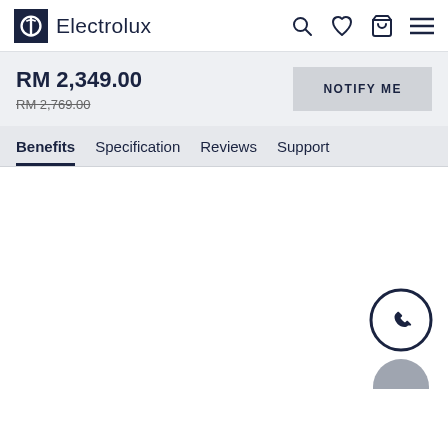Electrolux
RM 2,349.00
RM 2,769.00
NOTIFY ME
Benefits  Specification  Reviews  Support
[Figure (illustration): WhatsApp phone call floating icon button (circle with phone handset), and a partial grey circle icon below it, in the bottom-right corner of the page]